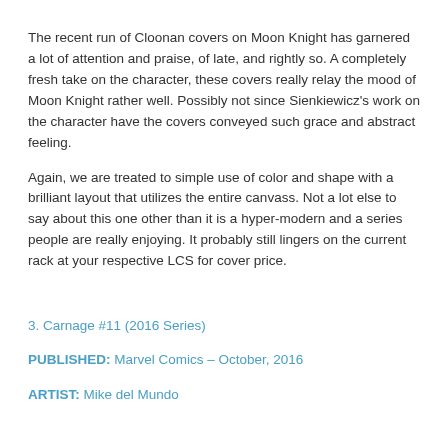The recent run of Cloonan covers on Moon Knight has garnered a lot of attention and praise, of late, and rightly so. A completely fresh take on the character, these covers really relay the mood of Moon Knight rather well. Possibly not since Sienkiewicz's work on the character have the covers conveyed such grace and abstract feeling.
Again, we are treated to simple use of color and shape with a brilliant layout that utilizes the entire canvass. Not a lot else to say about this one other than it is a hyper-modern and a series people are really enjoying. It probably still lingers on the current rack at your respective LCS for cover price.
3. Carnage #11 (2016 Series)
PUBLISHED: Marvel Comics – October, 2016
ARTIST: Mike del Mundo